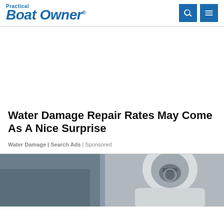Practical Boat Owner
Water Damage Repair Rates May Come As A Nice Surprise
Water Damage | Search Ads | Sponsored
[Figure (photo): Photo of a person in a white protective suit and respirator mask, working on a boat hull repair]